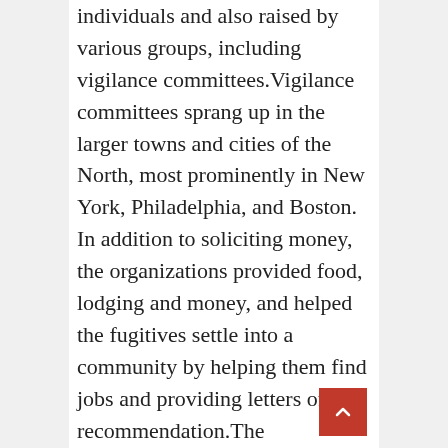individuals and also raised by various groups, including vigilance committees.Vigilance committees sprang up in the larger towns and cities of the North, most prominently in New York, Philadelphia, and Boston. In addition to soliciting money, the organizations provided food, lodging and money, and helped the fugitives settle into a community by helping them find jobs and providing letters of recommendation.The Underground Railroad had many notable participants, including John Fairfield in Ohio, the son of a slaveholding family, who made many